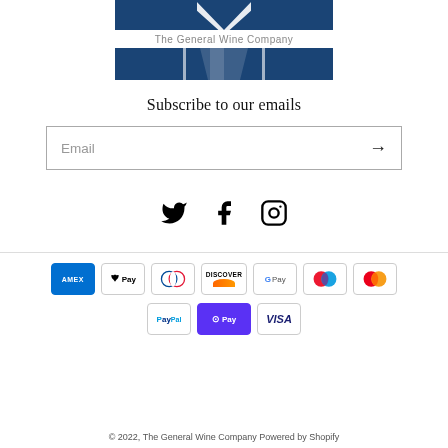[Figure (logo): The General Wine Company logo — blue rectangular banner with wine glass silhouette and company name text]
Subscribe to our emails
[Figure (other): Email subscription input field with arrow/submit button]
[Figure (other): Social media icons: Twitter, Facebook, Instagram]
[Figure (other): Payment method icons: American Express, Apple Pay, Diners Club, Discover, Google Pay, Maestro, Mastercard, PayPal, Shop Pay, Visa]
© 2022, The General Wine Company Powered by Shopify